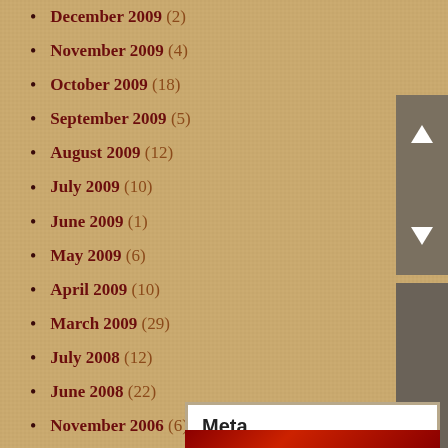December 2009 (2)
November 2009 (4)
October 2009 (18)
September 2009 (5)
August 2009 (12)
July 2009 (10)
June 2009 (1)
May 2009 (6)
April 2009 (10)
March 2009 (29)
July 2008 (12)
June 2008 (22)
November 2006 (6)
October 2006 (5)
Meta